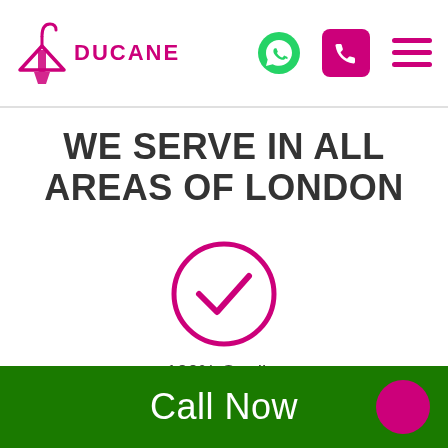[Figure (logo): Ducane clothing hanger logo with pink hanger icon and DUCANE text in magenta]
[Figure (infographic): WhatsApp green icon, pink phone icon, and hamburger menu icon in header]
WE SERVE IN ALL AREAS OF LONDON
[Figure (illustration): Pink circle with checkmark inside representing 100% Quality]
100% Quality
[Figure (illustration): Pink circle with star outline inside at bottom of page]
Call Now